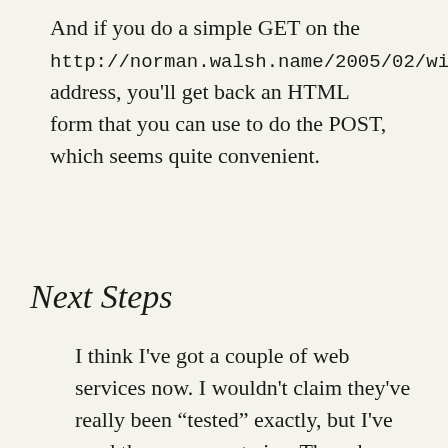And if you do a simple GET on the http://norman.walsh.name/2005/02/witw address, you'll get back an HTML form that you can use to do the POST, which seems quite convenient.
Next Steps
I think I've got a couple of web services now. I wouldn't claim they've really been “tested” exactly, but I've used them once or twice. The schemas a pretty ugly, I should probably clean